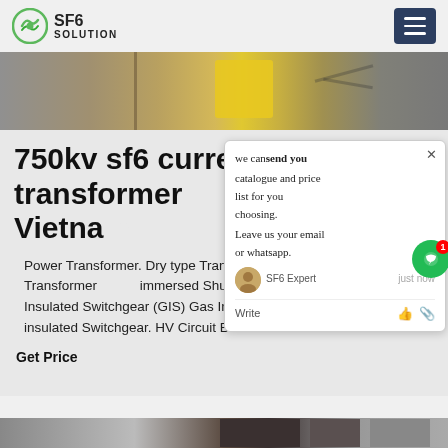SF6 SOLUTION
[Figure (photo): Industrial equipment photo showing a yellow box/device with cables, taken outdoors at a construction or testing site]
750kv sf6 current transformer Vietnam
Power Transformer. Dry type Transformer (up to 35kV) Oil immersed Transformer. Up to oil immersed Shunt Reactor (up to 500kV). Gas Insulated Switchgear (GIS) Gas Insulated Switchgear (GIS) HV Air insulated Switchgear. HV Circuit Breaker. HV Disconnector.
Get Price
[Figure (screenshot): Chat popup overlay: 'we can send you catalogue and price list for you choosing. Leave us your email or whatsapp.' with SF6 Expert avatar and just now timestamp, Write input area]
[Figure (photo): Bottom partial image strip showing industrial equipment]